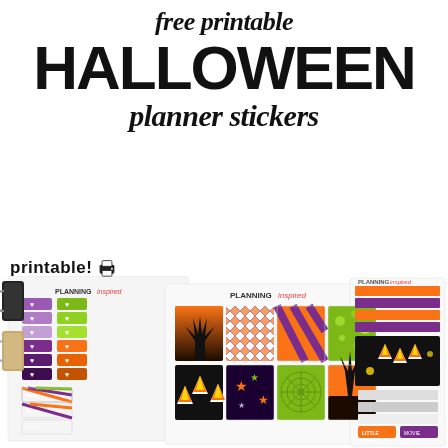free printable HALLOWEEN planner stickers
printable!
[Figure (photo): Collage of Halloween-themed planner sticker sheets from PlanningInspired, showing purple gradient heart stickers, orange and purple striped patterns, Halloween scenes with bats and pumpkins, candy corn, stars, spiderwebs, and orange sky trees. Two binder clips visible on the left side.]